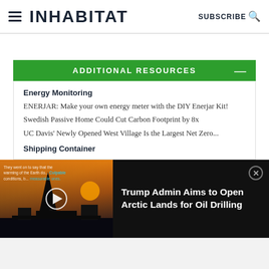INHABITAT — SUBSCRIBE
ADDITIONAL RESOURCES
Energy Monitoring
ENERJAR: Make your own energy meter with the DIY Enerjar Kit!
Swedish Passive Home Could Cut Carbon Footprint by 8x
UC Davis' Newly Opened West Village Is the Largest Net Zero...
Shipping Container
[Figure (screenshot): Video overlay banner showing an oil drilling silhouette at sunset with the title 'Trump Admin Aims to Open Arctic Lands for Oil Drilling']